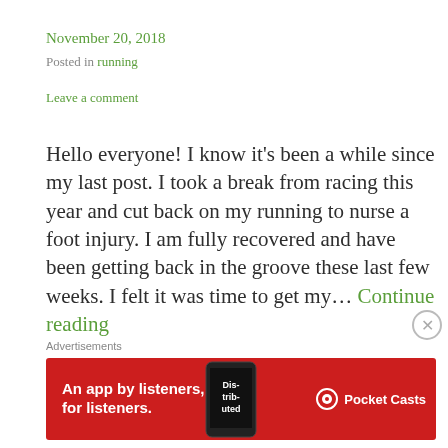November 20, 2018
Posted in running
Leave a comment
Hello everyone! I know it's been a while since my last post. I took a break from racing this year and cut back on my running to nurse a foot injury. I am fully recovered and have been getting back in the groove these last few weeks. I felt it was time to get my… Continue reading
Advertisements
[Figure (infographic): Pocket Casts advertisement banner with red background showing 'An app by listeners, for listeners.' text with phone image and Pocket Casts logo]